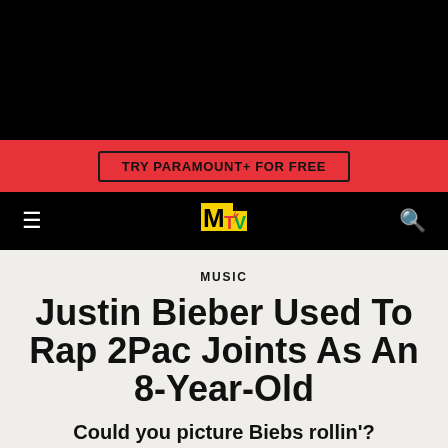[Figure (screenshot): Black top banner area]
[Figure (logo): Red banner with TRY PARAMOUNT+ FOR FREE button]
[Figure (logo): MTV navigation bar with hamburger menu, MTV logo in yellow/red/green, and search icon]
MUSIC
Justin Bieber Used To Rap 2Pac Joints As An 8-Year-Old
Could you picture Biebs rollin'?